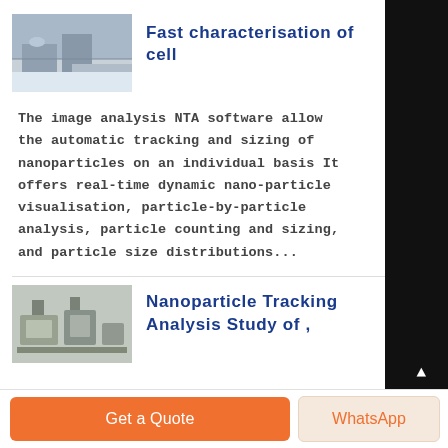[Figure (photo): Thumbnail image of outdoor scene, appears to show a road or pavement area with some figures]
Fast characterisation of cell
The image analysis NTA software allows the automatic tracking and sizing of nanoparticles on an individual basis It offers real-time dynamic nano-particle visualisation, particle-by-particle analysis, particle counting and sizing, and particle size distributions...
[Figure (photo): Thumbnail image of laboratory equipment, appears to show scientific instruments on a surface]
Nanoparticle Tracking Analysis Study of ,